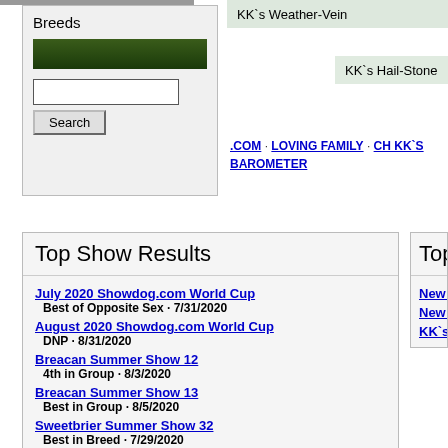Breeds
KK`s Weather-Vein
KK`s Hail-Stone
.COM · LOVING FAMILY · CH KK`S BAROMETER
Top Show Results
July 2020 Showdog.com World Cup
Best of Opposite Sex · 7/31/2020
August 2020 Showdog.com World Cup
DNP · 8/31/2020
Breacan Summer Show 12
4th in Group · 8/3/2020
Breacan Summer Show 13
Best in Group · 8/5/2020
Sweetbrier Summer Show 32
Best in Breed · 7/29/2020
Under the Southern Cross 20
Top Siblings
New Puppy #2
New Puppy #3
KK`s 12 O`clock